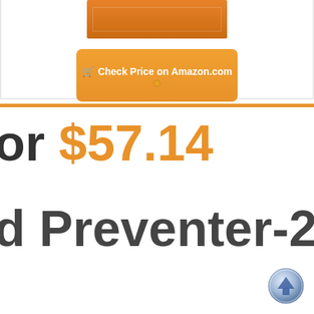[Figure (screenshot): Orange product image area at top of page]
[Figure (screenshot): Orange button with cart icon: Check Price on Amazon.com]
or $57.14
d Preventer-25 lb.
[Figure (illustration): Back to top arrow button, blue/silver circular icon]